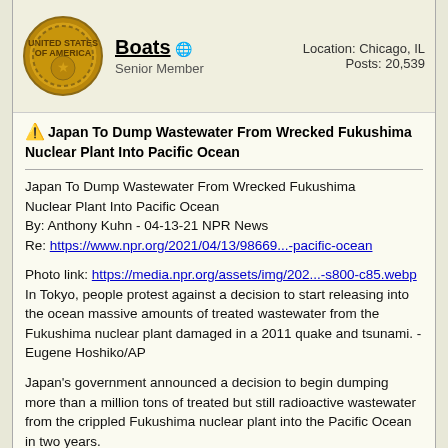Boats — Senior Member — Location: Chicago, IL — Posts: 20,539
⚠️ Japan To Dump Wastewater From Wrecked Fukushima Nuclear Plant Into Pacific Ocean
Japan To Dump Wastewater From Wrecked Fukushima Nuclear Plant Into Pacific Ocean
By: Anthony Kuhn - 04-13-21 NPR News
Re: https://www.npr.org/2021/04/13/98669...-pacific-ocean

Photo link: https://media.npr.org/assets/img/202...-s800-c85.webp
In Tokyo, people protest against a decision to start releasing into the ocean massive amounts of treated wastewater from the Fukushima nuclear plant damaged in a 2011 quake and tsunami. - Eugene Hoshiko/AP

Japan's government announced a decision to begin dumping more than a million tons of treated but still radioactive wastewater from the crippled Fukushima nuclear plant into the Pacific Ocean in two years.

The plant was severely damaged in a 2011 magnitude 9.0 quake and tsunami that left around 20,000 people in northeast Japan dead or missing.

Despite Tokyo's assurances that the move to discharge wastewater will not pose a threat to people or the